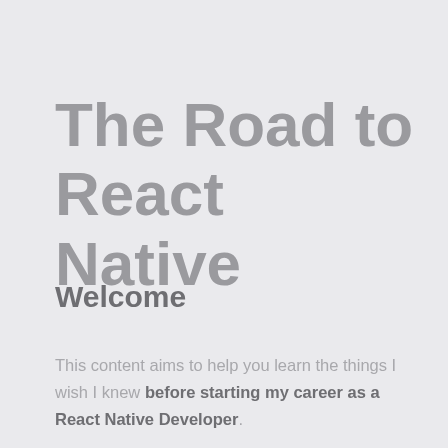The Road to React Native
Welcome
This content aims to help you learn the things I wish I knew before starting my career as a React Native Developer.